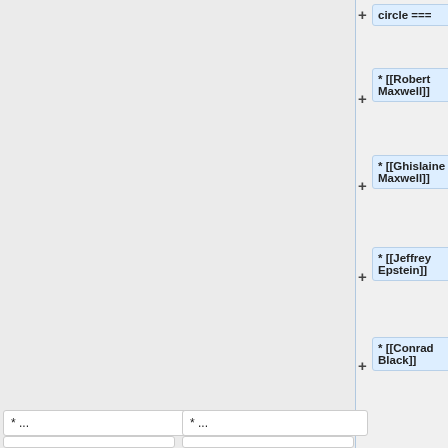circle ===
* [[Robert Maxwell]]
* [[Ghislaine Maxwell]]
* [[Jeffrey Epstein]]
* [[Conrad Black]]
* ...
* ...
Line 41:
Line 49:
* [[Peter Thiel]]
* [[Peter Thiel]]
* [[Wilbur Ross]]
* [[Wilbur Ross]]
* [[Steven Mnuchin]]